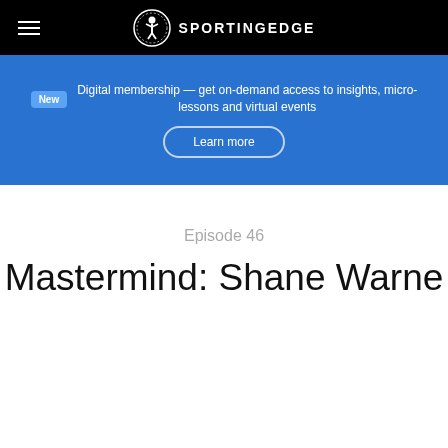SPORTINGEDGE
New  Digital membership — get on-demand access to insights, micro-lessons and virtual events
Learn more
Episode 46
Mastermind: Shane Warne